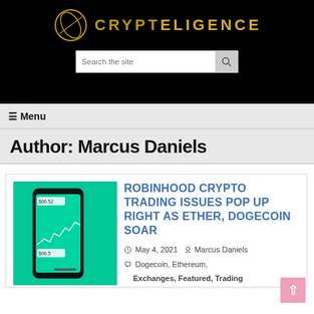[Figure (logo): Crypteligence logo: golden oval/circle icon with stylized C letter, followed by CRYPTELIGENCE in gold/brown bold letters on black background]
[Figure (screenshot): Search bar with placeholder text 'Search the site' and a magnifying glass search button]
≡ Menu
Author: Marcus Daniels
[Figure (photo): Smartphone showing a crypto trading chart with green line graph and price values $66.52 and $66.5 on a green background]
ROBINHOOD CRYPTO TRADING ISSUES POP UP RIGHT AS ETHER, DOGECOIN SOAR
May 4, 2021  Marcus Daniels
Dogecoin, Ethereum, Exchanges, Featured, Trading